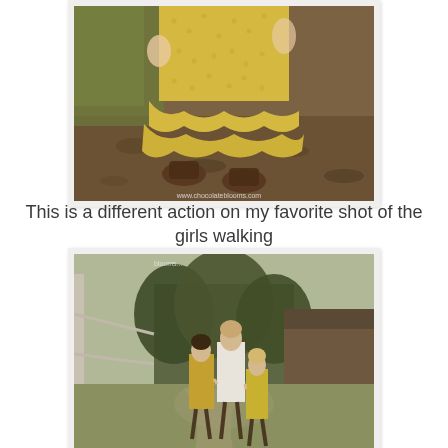[Figure (photo): Close-up photo of a young girl's lower body wearing a yellow ruffled dress and brown sandals, standing on dirt and leaves outdoors.]
This is a different action on my favorite shot of the girls walking
[Figure (photo): Photo of three girls walking away from the camera along a rural path, holding hands, wearing yellow and white dresses, with trees and a wooden barn structure in the background.]